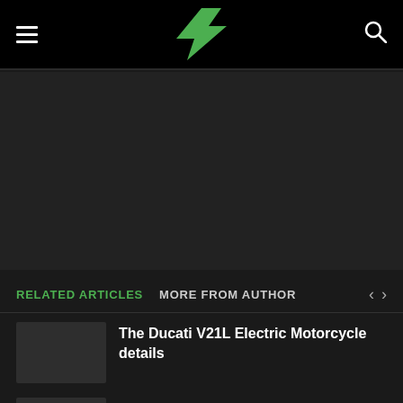Electrek logo header with hamburger menu and search icon
[Figure (other): Dark gray advertisement/banner placeholder area]
RELATED ARTICLES   MORE FROM AUTHOR
The Ducati V21L Electric Motorcycle details
Are E-bikes Good for Beginners? – Yorkshire Electric Scooters